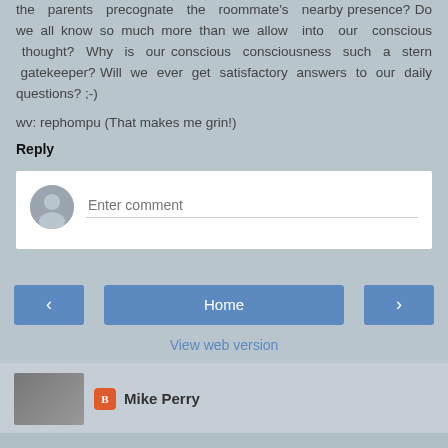the parents precognate the roommate's nearby presence? Do we all know so much more than we allow into our conscious thought? Why is our conscious consciousness such a stern gatekeeper? Will we ever get satisfactory answers to our daily questions? ;-)
wv: rephompu (That makes me grin!)
Reply
[Figure (screenshot): Comment input box with user avatar and placeholder text 'Enter comment']
[Figure (screenshot): Navigation buttons: left arrow, Home, right arrow, and View web version link]
Mike Perry